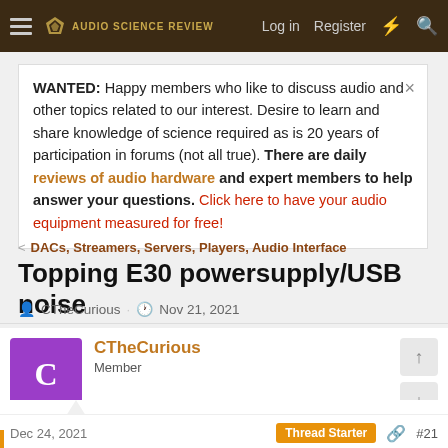Audio Science Review — Log in  Register
WANTED: Happy members who like to discuss audio and other topics related to our interest. Desire to learn and share knowledge of science required as is 20 years of participation in forums (not all true). There are daily reviews of audio hardware and expert members to help answer your questions. Click here to have your audio equipment measured for free!
DACs, Streamers, Servers, Players, Audio Interface
Topping E30 powersupply/USB noise
CTheCurious · Nov 21, 2021
CTheCurious
Member
Dec 24, 2021   Thread Starter   #21